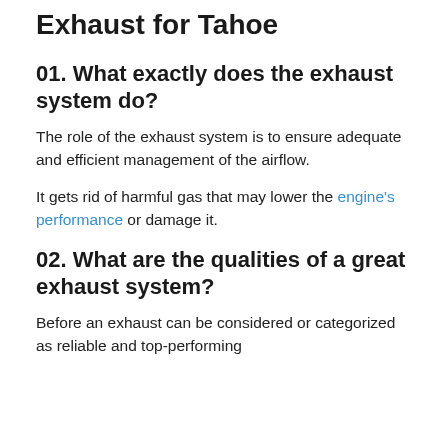Exhaust for Tahoe
01. What exactly does the exhaust system do?
The role of the exhaust system is to ensure adequate and efficient management of the airflow.
It gets rid of harmful gas that may lower the engine's performance or damage it.
02. What are the qualities of a great exhaust system?
Before an exhaust can be considered or categorized as reliable and top-performing